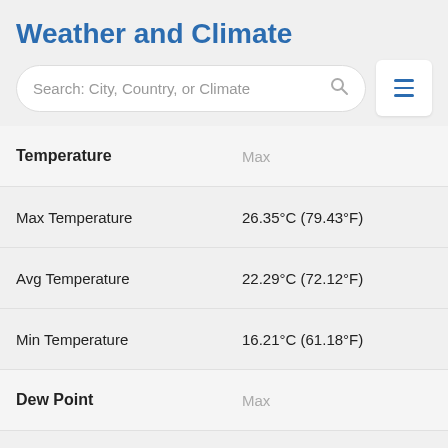Weather and Climate
Search: City, Country, or Climate
| Temperature | Max | Ave |
| --- | --- | --- |
| Max Temperature | 26.35°C (79.43°F) | 20.4 |
| Avg Temperature | 22.29°C (72.12°F) | 18.1 |
| Min Temperature | 16.21°C (61.18°F) | 12.5 |
| Dew Point (section) | Max | Ave |
| Dew Point | 12.16°C (53.89°F) | 9.45 |
| Precipitation (section) | Max |  |
| Precipitation | 2.13mm | 0.08in | 0.14 |